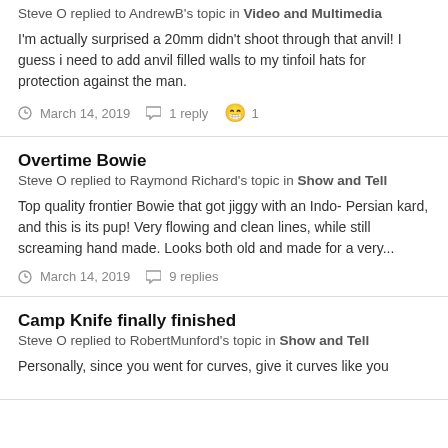Steve O replied to AndrewB's topic in Video and Multimedia
I'm actually surprised a 20mm didn't shoot through that anvil! I guess i need to add anvil filled walls to my tinfoil hats for protection against the man.
March 14, 2019  1 reply  😁 1
Overtime Bowie
Steve O replied to Raymond Richard's topic in Show and Tell
Top quality frontier Bowie that got jiggy with an Indo- Persian kard, and this is its pup! Very flowing and clean lines, while still screaming hand made. Looks both old and made for a very...
March 14, 2019  9 replies
Camp Knife finally finished
Steve O replied to RobertMunford's topic in Show and Tell
Personally, since you went for curves, give it curves like you